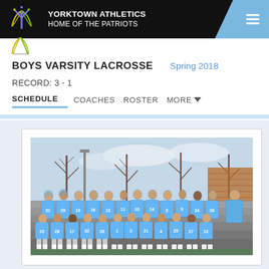YORKTOWN ATHLETICS HOME OF THE PATRIOTS
BOYS VARSITY LACROSSE   Spring 2018
RECORD: 3 - 1
SCHEDULE   COACHES   ROSTER   MORE
[Figure (photo): Team photo of the Yorktown Boys Varsity Lacrosse team, Spring 2018. Players in light blue jerseys with white numbers, seated and standing in bleachers outdoors. Jersey numbers visible include 31, 20, 19, 16, 13, 11, 10, 14, 2, 8, 24, 30 (back row) and 23, 28, 17, 32, 35, 1, 3, 21, 4, 25, 27, 12 (front row). A coach in a blue t-shirt stands at right.]